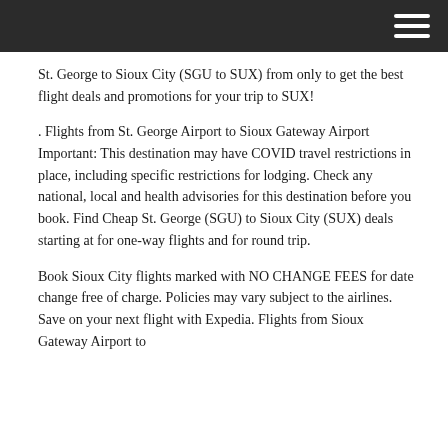St. George to Sioux City (SGU to SUX) from only to get the best flight deals and promotions for your trip to SUX!
. Flights from St. George Airport to Sioux Gateway Airport Important: This destination may have COVID travel restrictions in place, including specific restrictions for lodging. Check any national, local and health advisories for this destination before you book. Find Cheap St. George (SGU) to Sioux City (SUX) deals starting at for one-way flights and for round trip.
Book Sioux City flights marked with NO CHANGE FEES for date change free of charge. Policies may vary subject to the airlines. Save on your next flight with Expedia. Flights from Sioux Gateway Airport to St. George it continues...